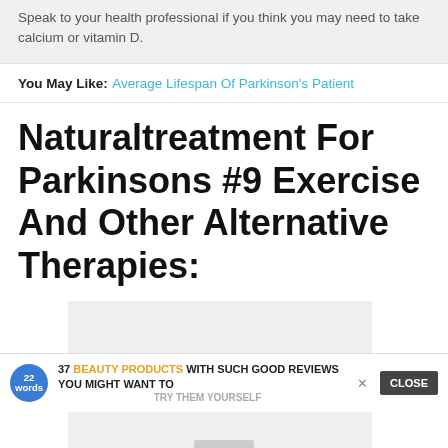Speak to your health professional if you think you may need to take calcium or vitamin D.
You May Like: Average Lifespan Of Parkinson's Patient
Naturaltreatment For Parkinsons #9 Exercise And Other Alternative Therapies:
[Figure (other): A light gray rectangular image placeholder below the section title]
37 BEAUTY PRODUCTS WITH SUCH GOOD REVIEWS YOU MIGHT WANT TO TRY THEM YOURSELF